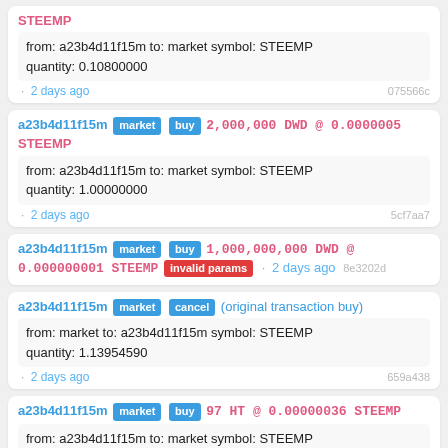STEEMP | from: a23b4d11f15m to: market symbol: STEEMP quantity: 0.10800000 | 2 days ago | 075566c
a23b4d11f15m market buy 2,000,000 DWD @ 0.0000005 STEEMP | from: a23b4d11f15m to: market symbol: STEEMP quantity: 1.00000000 | 2 days ago | 5cf7aa7
a23b4d11f15m market buy 1,000,000,000 DWD @ 0.000000001 STEEMP invalid params | 2 days ago | 8e3202d
a23b4d11f15m market cancel (original transaction buy) | from: market to: a23b4d11f15m symbol: STEEMP quantity: 1.13954590 | 2 days ago | 659a438
a23b4d11f15m market buy 97 HT @ 0.00000036 STEEMP | from: a23b4d11f15m to: market symbol: STEEMP quantity: 0.00003492 | 2 days ago | ae42a45